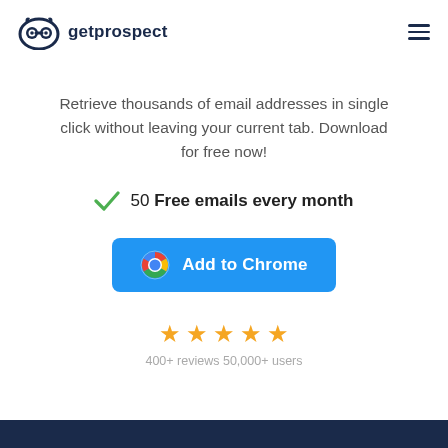[Figure (logo): Getprospect logo: owl icon and text 'getprospect' in dark navy]
Retrieve thousands of email addresses in single click without leaving your current tab. Download for free now!
✓ 50 Free emails every month
[Figure (other): Blue 'Add to Chrome' button with Chrome icon]
[Figure (other): Five gold stars rating]
400+ reviews 50,000+ users